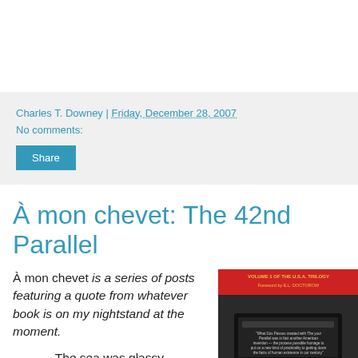Charles T. Downey | Friday, December 28, 2007
No comments:
Share
À mon chevet: The 42nd Parallel
À mon chevet is a series of posts featuring a quote from whatever book is on my nightstand at the moment.
The sea was glassy,
[Figure (photo): Book cover of The 42nd Parallel showing a vintage typewriter on a dark background with red text at top reading 'VOLUME 1 OF THE U.S.A. TRILOGY' and 'Foreword by E.L. DOCTOROW']